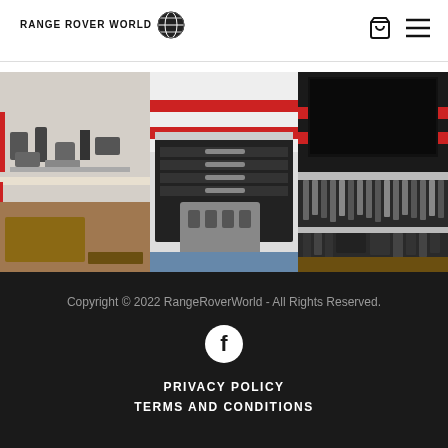RANGE ROVER WORLD
[Figure (photo): Three workshop photos showing engine parts laid out on a workbench, a black tool chest with red accents and engine block, and close-up of tool storage]
Copyright © 2022 RangeRoverWorld - All Rights Reserved.
[Figure (logo): Facebook icon - white 'f' in white circle on dark background]
PRIVACY POLICY
TERMS AND CONDITIONS